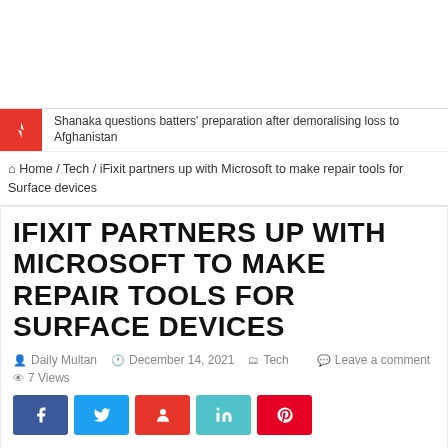[Figure (other): Advertisement / blank area at top of page]
Shanaka questions batters' preparation after demoralising loss to Afghanistan
🏠 Home / Tech / iFixit partners up with Microsoft to make repair tools for Surface devices
IFIXIT PARTNERS UP WITH MICROSOFT TO MAKE REPAIR TOOLS FOR SURFACE DEVICES
Daily Multan   December 14, 2021   Tech   Leave a comment   7 Views
[Figure (other): Social share buttons: Facebook, Twitter, StumbleUpon, LinkedIn, Pinterest]
iFixit has been a significant part of the mobile device repair community for many years and the company knows how important